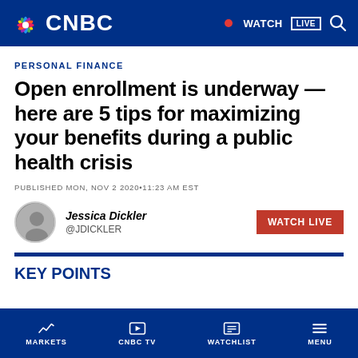CNBC — WATCH LIVE
PERSONAL FINANCE
Open enrollment is underway — here are 5 tips for maximizing your benefits during a public health crisis
PUBLISHED MON, NOV 2 2020•11:23 AM EST
Jessica Dickler @JDICKLER
KEY POINTS
MARKETS  CNBC TV  WATCHLIST  MENU